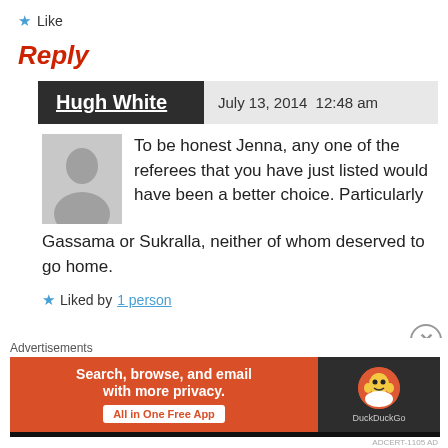★ Like
Reply
Hugh White   July 13, 2014 12:48 am
To be honest Jenna, any one of the referees that you have just listed would have been a better choice. Particularly Gassama or Sukralla, neither of whom deserved to go home.
★ Liked by 1 person
Advertisements
[Figure (other): DuckDuckGo advertisement banner: orange background with text 'Search, browse, and email with more privacy. All in One Free App' and DuckDuckGo logo on dark background]